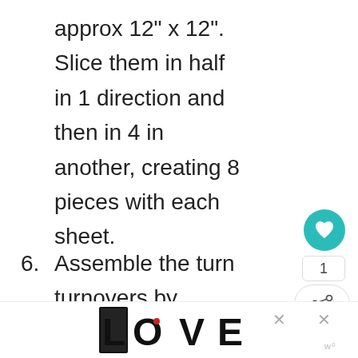approx 12" x 12". Slice them in half in 1 direction and then in 4 in another, creating 8 pieces with each sheet.
6. Assemble the turn turnovers by placing a piece of guava paste on one half of the
[Figure (logo): LOVE decorative text logo in black and white illustrated style]